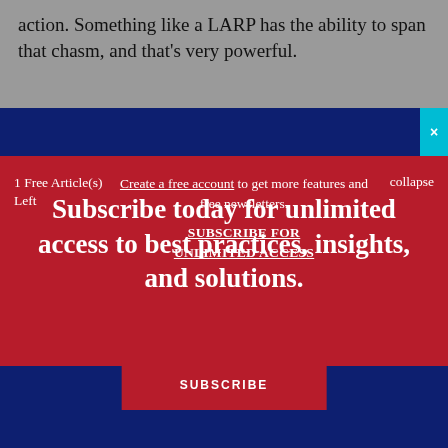action. Something like a LARP has the ability to span that chasm, and that’s very powerful.
1 Free Article(s) Left
Create a free account to get more features and free newsletters. SUBSCRIBE FOR UNLIMITED ACCESS
collapse
Subscribe today for unlimited access to best practices, insights, and solutions.
SUBSCRIBE